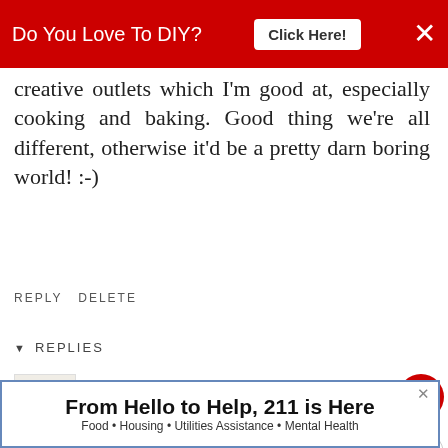[Figure (screenshot): Red banner advertisement: 'Do You Love To DIY? Click Here!' with close button]
creative outlets which I'm good at, especially cooking and baking. Good thing we're all different, otherwise it'd be a pretty darn boring world! :-)
REPLY   DELETE
▼  REPLIES
Kim
NOVEMBER 3, 2016 AT 5:46 PM
Yes, you totally excel at cooking and baking...things I do not...but love looking at on your site. I can
[Figure (screenshot): Bottom advertisement banner: 'From Hello to Help, 211 is Here' - Food • Housing • Utilities Assistance • Mental Health]